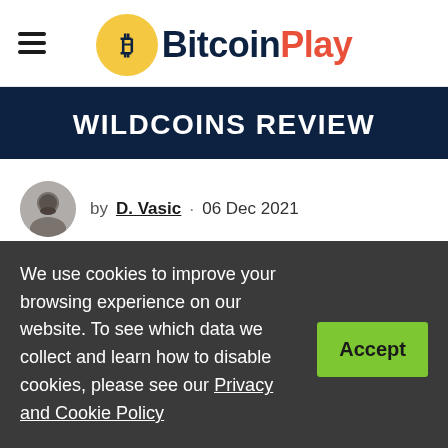BitcoinPlay
WILDCOINS REVIEW
by D. Vasic · 06 Dec 2021
PROS:
We use cookies to improve your browsing experience on our website. To see which data we collect and learn how to disable cookies, please see our Privacy and Cookie Policy